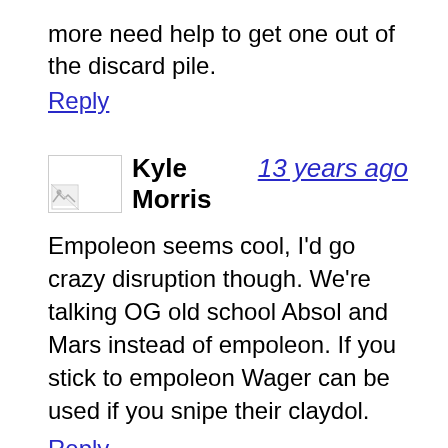more need help to get one out of the discard pile.
Reply
Kyle Morris   13 years ago
Empoleon seems cool, I'd go crazy disruption though. We're talking OG old school Absol and Mars instead of empoleon. If you stick to empoleon Wager can be used if you snipe their claydol.
Reply